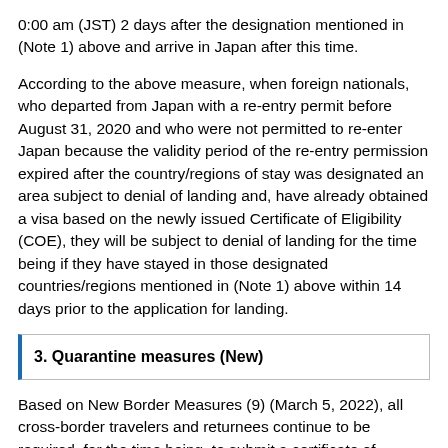0:00 am (JST) 2 days after the designation mentioned in (Note 1) above and arrive in Japan after this time.
According to the above measure, when foreign nationals, who departed from Japan with a re-entry permit before August 31, 2020 and who were not permitted to re-enter Japan because the validity period of the re-entry permission expired after the country/regions of stay was designated an area subject to denial of landing and, have already obtained a visa based on the newly issued Certificate of Eligibility (COE), they will be subject to denial of landing for the time being if they have stayed in those designated countries/regions mentioned in (Note 1) above within 14 days prior to the application for landing.
3. Quarantine measures (New)
Based on New Border Measures (9) (March 5, 2022), all cross-border travelers and returnees continue to be required, for the time being, to submit a certificate of negative result of pre-departure COVID-19 test conducted within 72 hours prior to departing from the original country/region.